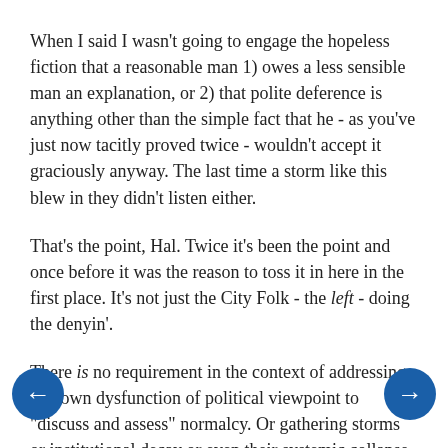When I said I wasn't going to engage the hopeless fiction that a reasonable man 1) owes a less sensible man an explanation, or 2) that polite deference is anything other than the simple fact that he - as you've just now tacitly proved twice - wouldn't accept it graciously anyway. The last time a storm like this blew in they didn't listen either.
That's the point, Hal. Twice it's been the point and once before it was the reason to toss it in here in the first place. It's not just the City Folk - the left - doing the denyin'.
There is no requirement in the context of addressing a known dysfunction of political viewpoint to "discuss and assess" normalcy. Or gathering storms or institutional decay or even their systemic collapse. Why would we when we already knows what it is and how it came to pass and how resistant its authors, patrons, and employees are to seeing it?
Things fall down. History repeats. None of this is either